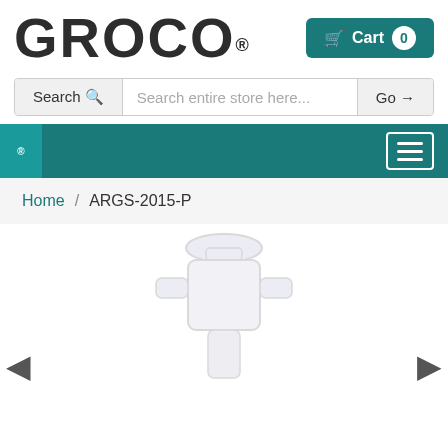[Figure (logo): GROCO brand logo in bold dark gray text with registered trademark symbol]
Cart 0
Search  Search entire store here...  Go →
[Figure (screenshot): Teal navigation bar with hamburger menu button on the right and a small tab on the left showing ®]
Home / ARGS-2015-P
[Figure (photo): White/light gray plastic strainer or filter housing product photo, partial view showing the top portion of the product]